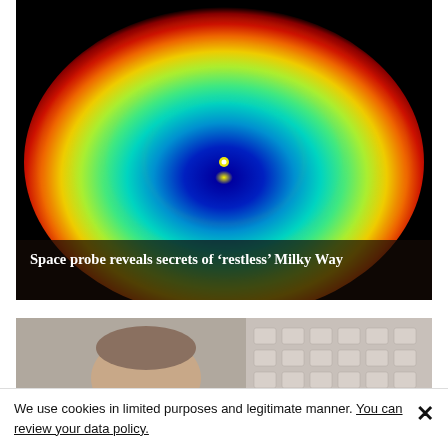[Figure (illustration): False-color visualization of the Milky Way galaxy showing concentric rings of color from dark blue at center through cyan, green, yellow to red at the outer edges, on a black background. A small bright yellow point is visible near the center.]
Space probe reveals secrets of 'restless' Milky Way
[Figure (photo): Partial view of a person's head (top/back) in front of what appears to be a white keyboard or similar equipment]
We use cookies in limited purposes and legitimate manner. You can review your data policy.